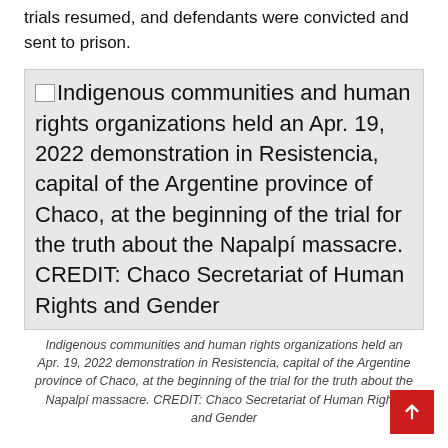trials resumed, and defendants were convicted and sent to prison.
[Figure (photo): Image placeholder box with alt text: Indigenous communities and human rights organizations held an Apr. 19, 2022 demonstration in Resistencia, capital of the Argentine province of Chaco, at the beginning of the trial for the truth about the Napalpí massacre. CREDIT: Chaco Secretariat of Human Rights and Gender]
Indigenous communities and human rights organizations held an Apr. 19, 2022 demonstration in Resistencia, capital of the Argentine province of Chaco, at the beginning of the trial for the truth about the Napalpí massacre. CREDIT: Chaco Secretariat of Human Rights and Gender
Historic reparations
“My grandmother was a survivor of the massacre and I grew up listening to the stories of labor